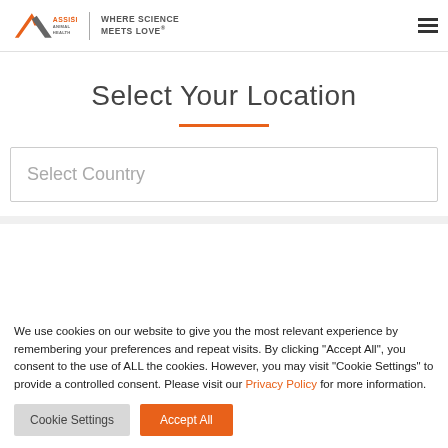Assisi Animal Health — WHERE SCIENCE MEETS LOVE
Select Your Location
Select Country
We use cookies on our website to give you the most relevant experience by remembering your preferences and repeat visits. By clicking "Accept All", you consent to the use of ALL the cookies. However, you may visit "Cookie Settings" to provide a controlled consent. Please visit our Privacy Policy for more information.
Cookie Settings | Accept All